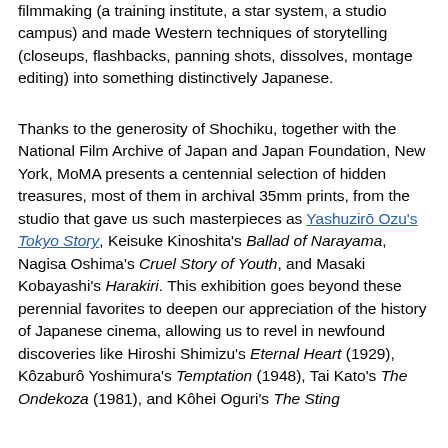filmmaking (a training institute, a star system, a studio campus) and made Western techniques of storytelling (closeups, flashbacks, panning shots, dissolves, montage editing) into something distinctively Japanese.
Thanks to the generosity of Shochiku, together with the National Film Archive of Japan and Japan Foundation, New York, MoMA presents a centennial selection of hidden treasures, most of them in archival 35mm prints, from the studio that gave us such masterpieces as Yashuzirō Ozu's Tokyo Story, Keisuke Kinoshita's Ballad of Narayama, Nagisa Oshima's Cruel Story of Youth, and Masaki Kobayashi's Harakiri. This exhibition goes beyond these perennial favorites to deepen our appreciation of the history of Japanese cinema, allowing us to revel in newfound discoveries like Hiroshi Shimizu's Eternal Heart (1929), Kôzaburô Yoshimura's Temptation (1948), Tai Kato's The Ondekoza (1981), and Kôhei Oguri's The Sting